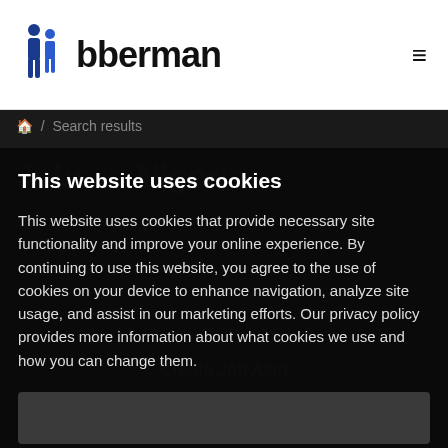[Figure (logo): Jobberman logo with two silhouette figures icon and bold text 'Jobberman']
≡
🏠 / Search results
This website uses cookies
This website uses cookies that provide necessary site functionality and improve your online experience. By continuing to use this website, you agree to the use of cookies on your device to enhance navigation, analyze site usage, and assist in our marketing efforts. Our privacy policy provides more information about what cookies we use and how you can change them.
Create Job Alert
Accept and Close
Learn More